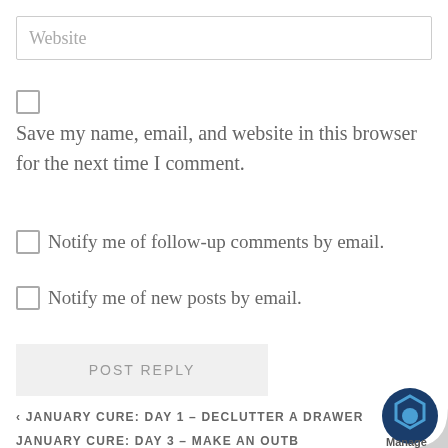Website
Save my name, email, and website in this browser for the next time I comment.
Notify me of follow-up comments by email.
Notify me of new posts by email.
POST REPLY
< JANUARY CURE: DAY 1 – DECLUTTER A DRAWER
JANUARY CURE: DAY 3 – MAKE AN OUTBO... PRO...